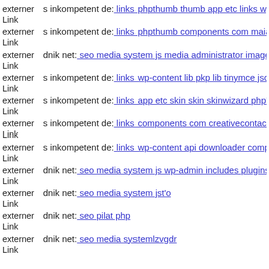externer Link s inkompetent de: links phpthumb thumb app etc links wp-c
externer Link s inkompetent de: links phpthumb components com maian1
externer Link dnik net: seo media system js media administrator images s
externer Link s inkompetent de: links wp-content lib pkp lib tinymce jscri
externer Link s inkompetent de: links app etc skin skin skinwizard php'
externer Link s inkompetent de: links components com creativecontactfor
externer Link s inkompetent de: links wp-content api downloader compor
externer Link dnik net: seo media system js wp-admin includes plugins co
externer Link dnik net: seo media system jst'o
externer Link dnik net: seo pilat php
externer Link dnik net: seo media systemlzvgdr